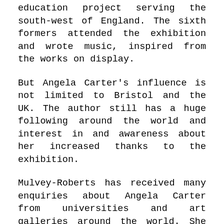education project serving the south-west of England. The sixth formers attended the exhibition and wrote music, inspired from the works on display.
But Angela Carter's influence is not limited to Bristol and the UK. The author still has a huge following around the world and interest in and awareness about her increased thanks to the exhibition.
Mulvey-Roberts has received many enquiries about Angela Carter from universities and art galleries around the world. She was invited to attend a special event at the Estoril Higher Institute for Tourism and Hotel Studies, based some 25km outside of Lisbon, where a banquet was prepared by students in gastronomy. “The university’s MA students in culinary design organised a gastronomic experience: a banquet around the theme of Angela Carter,” says